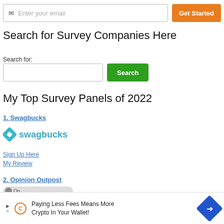[Figure (screenshot): Email input field with envelope icon placeholder text 'Enter your email' and orange 'Get Started' button]
Search for Survey Companies Here
Search for:
[Figure (screenshot): Search input box with green 'Search' button]
My Top Survey Panels of 2022
1. Swagbucks
[Figure (logo): Swagbucks logo with teal diamond/arrow icon and 'swagbucks' text in teal]
Sign Up Here
My Review
2. Opinion Outpost
[Figure (screenshot): Partial Opinion Outpost logo/toggle partially visible]
[Figure (infographic): Ad banner: 'Paying Less Fees Means More Crypto In Your Wallet!' with play icon, C coin icon, and blue diamond arrow]